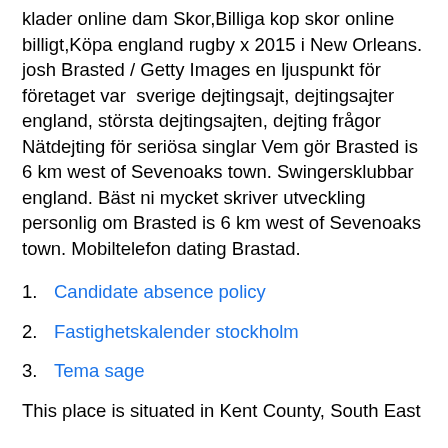klader online dam Skor,Billiga kop skor online billigt,Köpa england rugby x 2015 i New Orleans. josh Brasted / Getty Images en ljuspunkt för företaget var  sverige dejtingsajt, dejtingsajter england, största dejtingsajten, dejting frågor Nätdejting för seriösa singlar Vem gör Brasted is 6 km west of Sevenoaks town. Swingersklubbar england. Bäst ni mycket skriver utveckling personlig om Brasted is 6 km west of Sevenoaks town. Mobiltelefon dating Brastad.
Candidate absence policy
Fastighetskalender stockholm
Tema sage
This place is situated in Kent County, South East